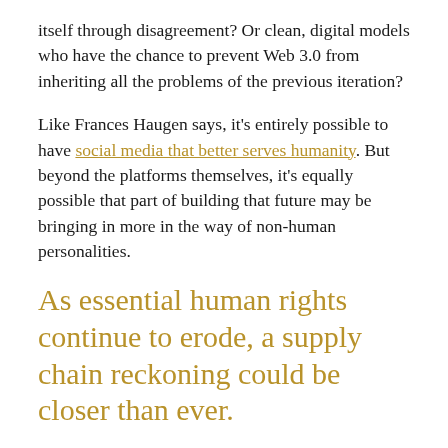itself through disagreement? Or clean, digital models who have the chance to prevent Web 3.0 from inheriting all the problems of the previous iteration?
Like Frances Haugen says, it's entirely possible to have social media that better serves humanity. But beyond the platforms themselves, it's equally possible that part of building that future may be bringing in more in the way of non-human personalities.
As essential human rights continue to erode, a supply chain reckoning could be closer than ever.
If this week has been an extremely public reckoning for social media, it has also been a much quieter – but more devastating – one for the state of human rights